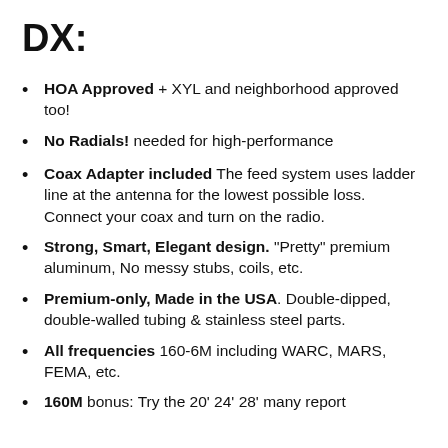DX:
HOA Approved + XYL and neighborhood approved too!
No Radials! needed for high-performance
Coax Adapter included The feed system uses ladder line at the antenna for the lowest possible loss. Connect your coax and turn on the radio.
Strong, Smart, Elegant design. "Pretty" premium aluminum, No messy stubs, coils, etc.
Premium-only, Made in the USA. Double-dipped, double-walled tubing & stainless steel parts.
All frequencies 160-6M including WARC, MARS, FEMA, etc.
160M bonus: Try the 20' 24' 28' many report